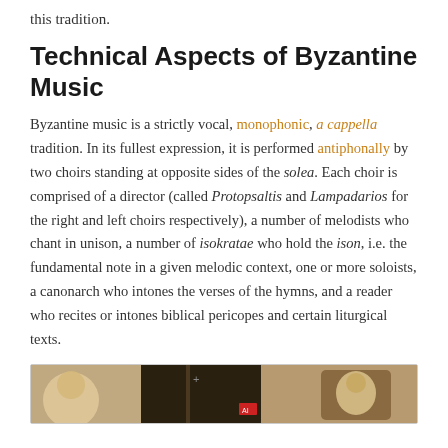this tradition.
Technical Aspects of Byzantine Music
Byzantine music is a strictly vocal, monophonic, a cappella tradition. In its fullest expression, it is performed antiphonally by two choirs standing at opposite sides of the solea. Each choir is comprised of a director (called Protopsaltis and Lampadarios for the right and left choirs respectively), a number of melodists who chant in unison, a number of isokratae who hold the ison, i.e. the fundamental note in a given melodic context, one or more soloists, a canonarch who intones the verses of the hymns, and a reader who recites or intones biblical pericopes and certain liturgical texts.
[Figure (photo): Photograph of the interior of an Orthodox church showing iconostasis and religious imagery]